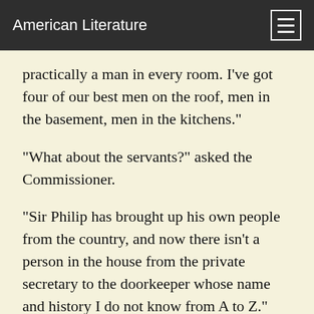American Literature
practically a man in every room. I’ve got four of our best men on the roof, men in the basement, men in the kitchens.”
“What about the servants?” asked the Commissioner.
“Sir Philip has brought up his own people from the country, and now there isn’t a person in the house from the private secretary to the doorkeeper whose name and history I do not know from A to Z.”
The Commissioner breathed an anxious sigh.
“I shall be very glad when to-morrow is over,” he